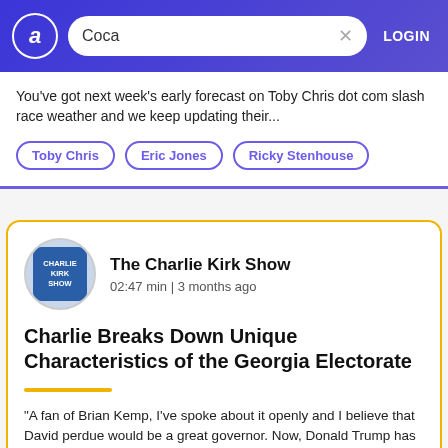Coca LOGIN
You've got next week's early forecast on Toby Chris dot com slash race weather and we keep updating their...
Toby Chris
Eric Jones
Ricky Stenhouse
The Charlie Kirk Show
02:47 min | 3 months ago
Charlie Breaks Down Unique Characteristics of the Georgia Electorate
"A fan of Brian Kemp, I've spoke about it openly and I believe that David perdue would be a great governor. Now, Donald Trump has endorsed David perdue as David